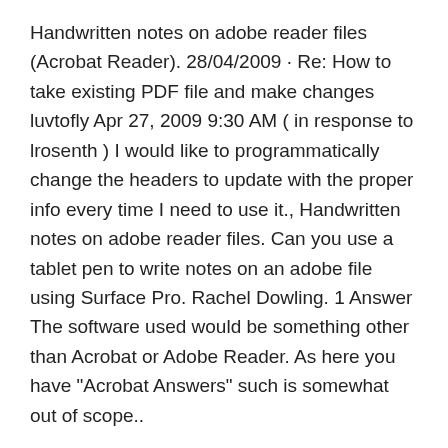Handwritten notes on adobe reader files (Acrobat Reader). 28/04/2009 · Re: How to take existing PDF file and make changes luvtofly Apr 27, 2009 9:30 AM ( in response to lrosenth ) I would like to programmatically change the headers to update with the proper info every time I need to use it., Handwritten notes on adobe reader files. Can you use a tablet pen to write notes on an adobe file using Surface Pro. Rachel Dowling. 1 Answer The software used would be something other than Acrobat or Adobe Reader. As here you have "Acrobat Answers" such is somewhat out of scope..
10/08/2012 · To work with the sildes alredy in a pdf file, the only way I believe is to do it manually with Adobe Acrobat or similar. First is to create a single powerpoint slide with lines similar to your example. 22/12/2013 · Do you want the option to write directly on the file in the reader? I would like to inform you that the reader does not have that option. You may use